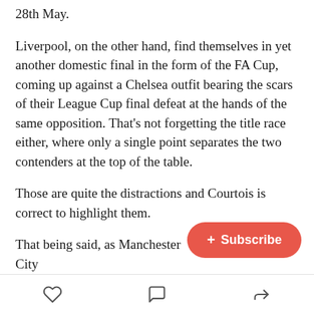28th May.
Liverpool, on the other hand, find themselves in yet another domestic final in the form of the FA Cup, coming up against a Chelsea outfit bearing the scars of their League Cup final defeat at the hands of the same opposition. That's not forgetting the title race either, where only a single point separates the two contenders at the top of the table.
Those are quite the distractions and Courtois is correct to highlight them.
That being said, as Manchester City [obscured by Subscribe button] degree, in their heartbreaking defeat [obscured] the second leg of their Champions League semi-final, a